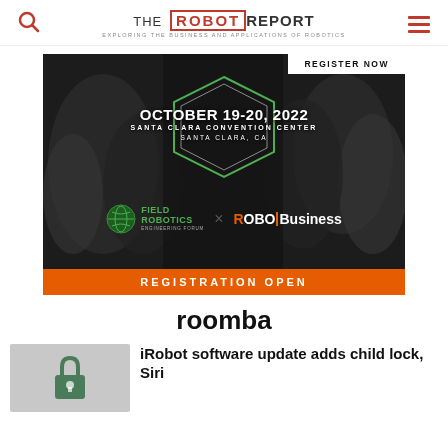THE ROBOT REPORT — EXPLORING THE BUSINESS AND APPLICATIONS OF ROBOTICS
[Figure (photo): Advertisement banner for RoboBusiness and Field Robotics Engineering Forum event. October 19-20, 2022, Santa Clara Convention Center, Santa Clara, CA. Register Now. Registration Open. Shows attendees in background.]
roomba
iRobot software update adds child lock, Siri